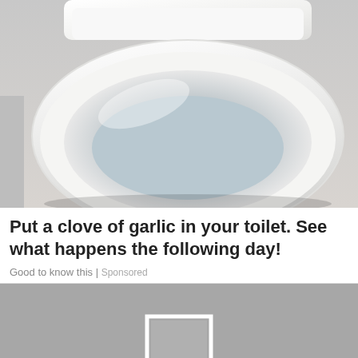[Figure (photo): Close-up photo of a white toilet bowl and seat from above, on a light background]
Put a clove of garlic in your toilet. See what happens the following day!
Good to know this | Sponsored
[Figure (photo): Gray placeholder image with a white square border icon in the center, resembling a video thumbnail or loading image]